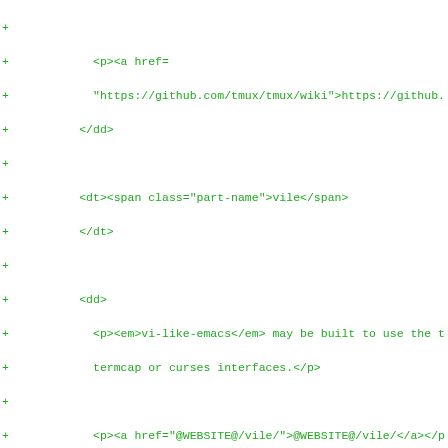diff/code view showing HTML markup additions with + signs, green monospace text on white background